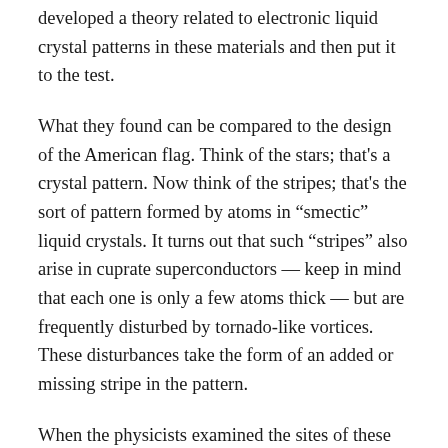developed a theory related to electronic liquid crystal patterns in these materials and then put it to the test.
What they found can be compared to the design of the American flag. Think of the stars; that's a crystal pattern. Now think of the stripes; that's the sort of pattern formed by atoms in “smectic” liquid crystals. It turns out that such “stripes” also arise in cuprate superconductors — keep in mind that each one is only a few atoms thick — but are frequently disturbed by tornado-like vortices. These disturbances take the form of an added or missing stripe in the pattern.
When the physicists examined the sites of these disturbances using a scanning tunneling microscope, they found that there was a direct connection between the vortices and another pattern they discovered earlier. The earlier